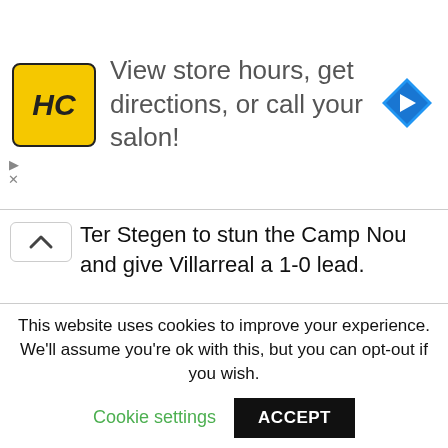[Figure (infographic): Ad banner for Hair Cuttery (HC logo on yellow background) with text 'View store hours, get directions, or call your salon!' and a blue navigation arrow icon on the right]
Ter Stegen to stun the Camp Nou and give Villarreal a 1-0 lead.
This website uses cookies to improve your experience. We'll assume you're ok with this, but you can opt-out if you wish.
Cookie settings
ACCEPT